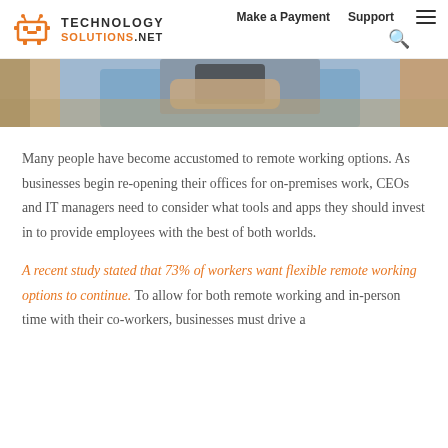Technology Solutions .NET — Make a Payment | Support
[Figure (photo): Close-up photo of a person in a blue shirt holding a smartphone, with a blurred background.]
Many people have become accustomed to remote working options. As businesses begin re-opening their offices for on-premises work, CEOs and IT managers need to consider what tools and apps they should invest in to provide employees with the best of both worlds.
A recent study stated that 73% of workers want flexible remote working options to continue. To allow for both remote working and in-person time with their co-workers, businesses must drive a